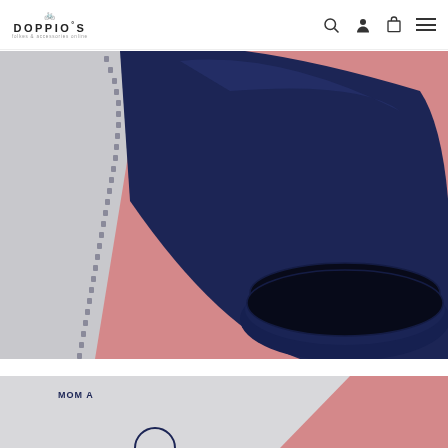DOPPIO'S - folkes & accessories online - navigation with search, profile, cart, and menu icons
[Figure (photo): Close-up photo of a navy blue cycling jersey sleeve with zipper on a pink background. The sleeve shows a ribbed cuff at the bottom and the edge of a white jersey panel on the left.]
[Figure (photo): Partial photo of a white cycling jersey with 'MOM A...' text embroidered and a circular logo emblem visible at the bottom, against a pink background.]